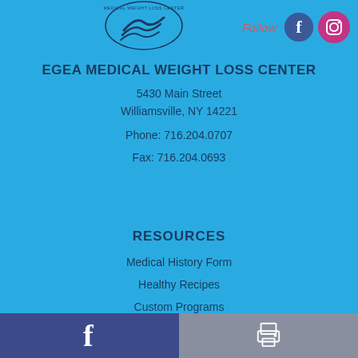[Figure (logo): Egea Medical Weight Loss Center logo - circular bird/wave design with text]
[Figure (infographic): Social media follow icons - Facebook and Instagram circular icons with Follow text]
EGEA MEDICAL WEIGHT LOSS CENTER
5430 Main Street
Williamsville, NY 14221
Phone: 716.204.0707
Fax: 716.204.0693
RESOURCES
Medical History Form
Healthy Recipes
Custom Programs
Facebook share button | Print button